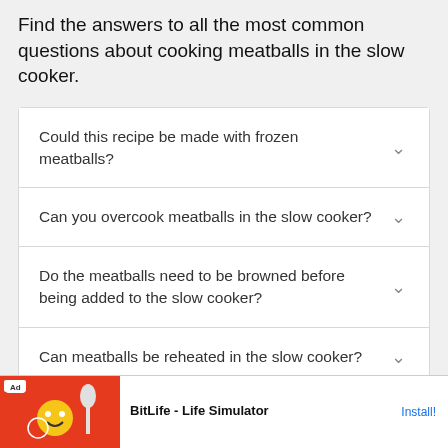Find the answers to all the most common questions about cooking meatballs in the slow cooker.
Could this recipe be made with frozen meatballs?
Can you overcook meatballs in the slow cooker?
Do the meatballs need to be browned before being added to the slow cooker?
Can meatballs be reheated in the slow cooker?
[Figure (screenshot): Advertisement banner for BitLife - Life Simulator app with red background and game imagery, with 'Ad' badge and 'Install!' call to action button]